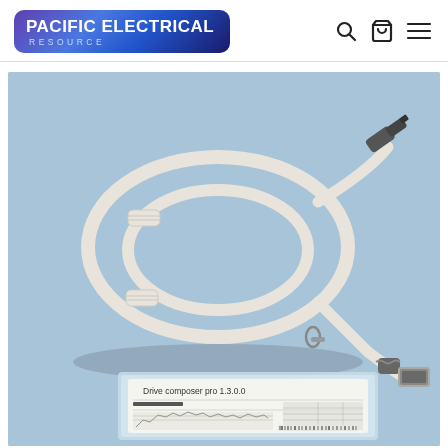[Figure (logo): Pacific Electrical Resource logo — blue/purple gradient rounded rectangle with white bold text 'PACIFIC ELECTRICAL' and smaller 'RESOURCE' subtitle]
[Figure (other): Navigation icons: search (magnifying glass), cart (shopping bag), and hamburger menu on white header bar]
[Figure (photo): Product photo on light blue background showing a coiled white USB cable with ferrite cores at both ends — a USB Type-A connector on one end and a smaller connector on the other — plus a software CD case labeled 'Drive composer pro 1.3.0.0' visible at the bottom of the image]